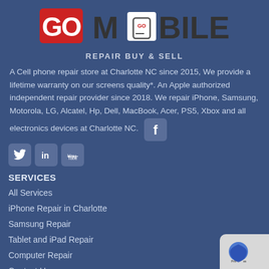[Figure (logo): Go Mobile Repair Buy & Sell logo with stylized text and phone icon]
REPAIR BUY & SELL
A Cell phone repair store at Charlotte NC since 2015, We provide a lifetime warranty on our screens quality*. An Apple authorized independent repair provider since 2018. We repair iPhone, Samsung, Motorola, LG, Alcatel, Hp, Dell, MacBook, Acer, PS5, Xbox and all electronics devices at Charlotte NC.
[Figure (other): Social media icons: Twitter, LinkedIn, YouTube, Facebook]
SERVICES
All Services
iPhone Repair in Charlotte
Samsung Repair
Tablet and iPad Repair
Computer Repair
Contact Us